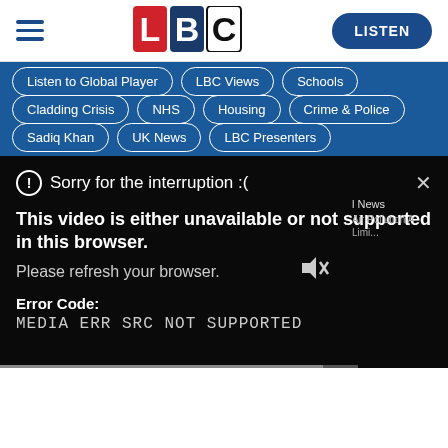[Figure (logo): LBC radio logo with L in red, B in navy, C in black/white]
Listen to Global Player
LBC Views
Schools
Cladding Crisis
NHS
Housing
Crime & Police
Sadiq Khan
UK News
LBC Presenters
Sorry for the interruption :(
This video is either unavailable or not supported in this browser. Please refresh your browser.
Error Code: MEDIA ERR SRC NOT SUPPORTED